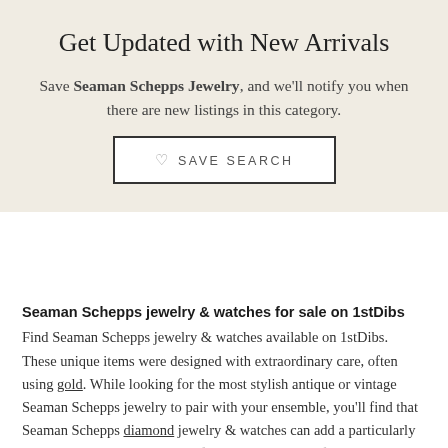Get Updated with New Arrivals
Save Seaman Schepps Jewelry, and we’ll notify you when there are new listings in this category.
♡ SAVE SEARCH
Seaman Schepps jewelry & watches for sale on 1stDibs
Find Seaman Schepps jewelry & watches available on 1stDibs. These unique items were designed with extraordinary care, often using gold. While looking for the most stylish antique or vintage Seaman Schepps jewelry to pair with your ensemble, you’ll find that Seaman Schepps diamond jewelry & watches can add a particularly distinctive touch to your look, from our inventory of 43. This